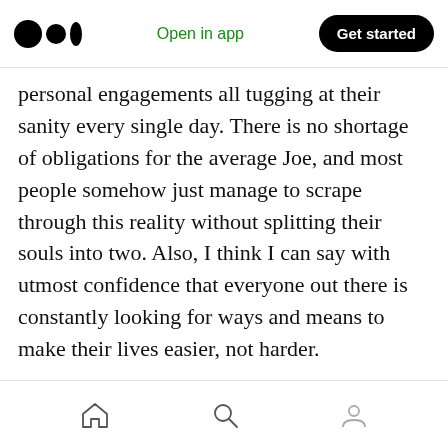Medium logo | Open in app | Get started
personal engagements all tugging at their sanity every single day. There is no shortage of obligations for the average Joe, and most people somehow just manage to scrape through this reality without splitting their souls into two. Also, I think I can say with utmost confidence that everyone out there is constantly looking for ways and means to make their lives easier, not harder.
While veganism might manage to bring some reprieve to peop [clap 100 | comment 1] m of health benefits and renewed energy, it shouldn't be the
Home | Search | Profile